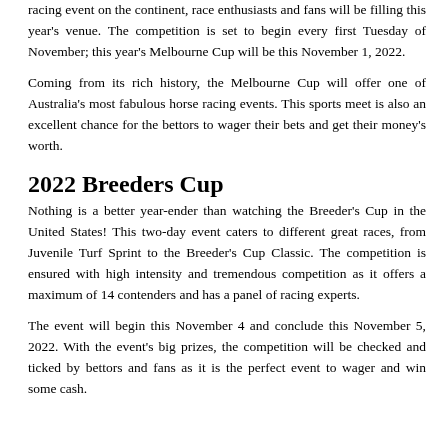racing event on the continent, race enthusiasts and fans will be filling this year's venue. The competition is set to begin every first Tuesday of November; this year's Melbourne Cup will be this November 1, 2022.
Coming from its rich history, the Melbourne Cup will offer one of Australia's most fabulous horse racing events. This sports meet is also an excellent chance for the bettors to wager their bets and get their money's worth.
2022 Breeders Cup
Nothing is a better year-ender than watching the Breeder's Cup in the United States! This two-day event caters to different great races, from Juvenile Turf Sprint to the Breeder's Cup Classic. The competition is ensured with high intensity and tremendous competition as it offers a maximum of 14 contenders and has a panel of racing experts.
The event will begin this November 4 and conclude this November 5, 2022. With the event's big prizes, the competition will be checked and ticked by bettors and fans as it is the perfect event to wager and win some cash.